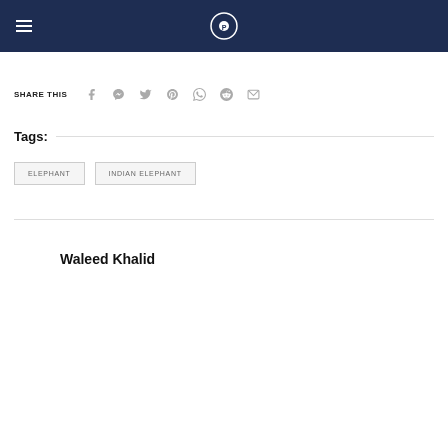Navigation bar with hamburger menu and site logo
SHARE THIS
ELEPHANT  INDIAN ELEPHANT
Tags:
Waleed Khalid